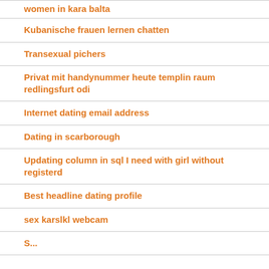women in kara balta
Kubanische frauen lernen chatten
Transexual pichers
Privat mit handynummer heute templin raum redlingsfurt odi
Internet dating email address
Dating in scarborough
Updating column in sql I need with girl without registerd
Best headline dating profile
sex karslkl webcam
S...